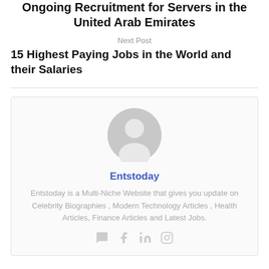Ongoing Recruitment for Servers in the United Arab Emirates
Next Post
15 Highest Paying Jobs in the World and their Salaries
[Figure (illustration): Generic grey user avatar icon inside a rounded box]
Entstoday
Entstoday is a Multi-Niche Website that gives you update on Celebrity Biographies , Modern Technology Articles , Health Articles, Finance Articles and Latest Jobs.
[Figure (illustration): Social media icons: Twitter/message, Facebook, LinkedIn, Instagram]